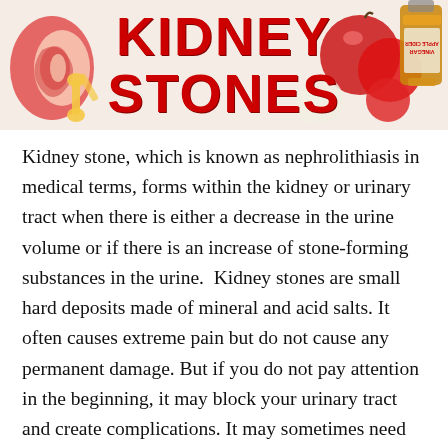[Figure (illustration): Banner image showing kidney anatomy illustration on the left, apple cider vinegar bottle on the right, red apples, with bold red text 'KIDNEY STONES' in the center on a light pinkish background.]
Kidney stone, which is known as nephrolithiasis in medical terms, forms within the kidney or urinary tract when there is either a decrease in the urine volume or if there is an increase of stone-forming substances in the urine.  Kidney stones are small hard deposits made of mineral and acid salts. It often causes extreme pain but do not cause any permanent damage. But if you do not pay attention in the beginning, it may block your urinary tract and create complications. It may sometimes need surgery to remove the stones from the urinary tract.
Apple cider vinegar is considered as a great ingredient that you can use to prepare remedies to cure small kidney stones. And at the same time this ingredient will also save you from those painful surgeries as well as from the dreaded side effects of